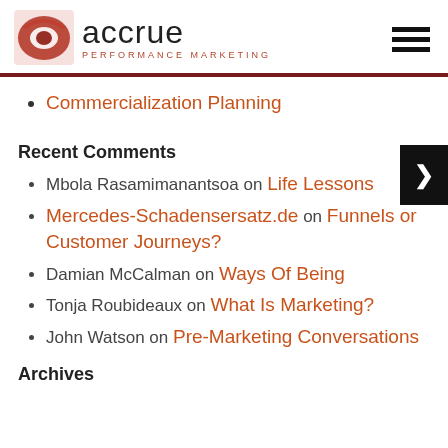[Figure (logo): Accrue Performance Marketing logo with stylized 'a' icon and text]
Commercialization Planning
Recent Comments
Mbola Rasamimanantsoa on Life Lessons
Mercedes-Schadensersatz.de on Funnels or Customer Journeys?
Damian McCalman on Ways Of Being
Tonja Roubideaux on What Is Marketing?
John Watson on Pre-Marketing Conversations
Archives